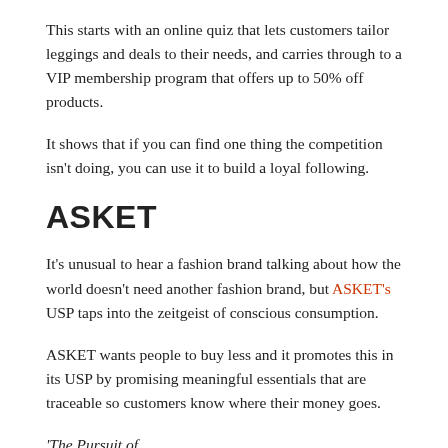This starts with an online quiz that lets customers tailor leggings and deals to their needs, and carries through to a VIP membership program that offers up to 50% off products.
It shows that if you can find one thing the competition isn't doing, you can use it to build a loyal following.
ASKET
It's unusual to hear a fashion brand talking about how the world doesn't need another fashion brand, but ASKET's USP taps into the zeitgeist of conscious consumption.
ASKET wants people to buy less and it promotes this in its USP by promising meaningful essentials that are traceable so customers know where their money goes.
'The Pursuit of...